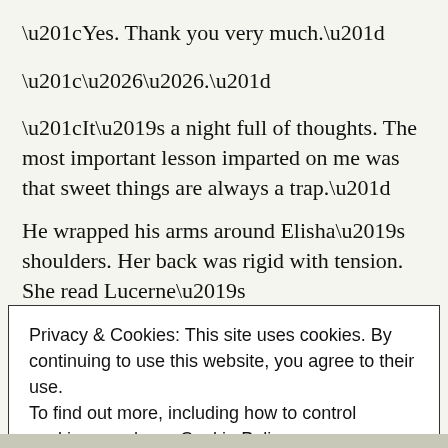“Yes. Thank you very much.”
“…….”
“It’s a night full of thoughts. The most important lesson imparted on me was that sweet things are always a trap.”
He wrapped his arms around Elisha’s shoulders. Her back was rigid with tension. She read Lucerne’s
Privacy & Cookies: This site uses cookies. By continuing to use this website, you agree to their use.
To find out more, including how to control cookies, see here: Cookie Policy
Close and accept